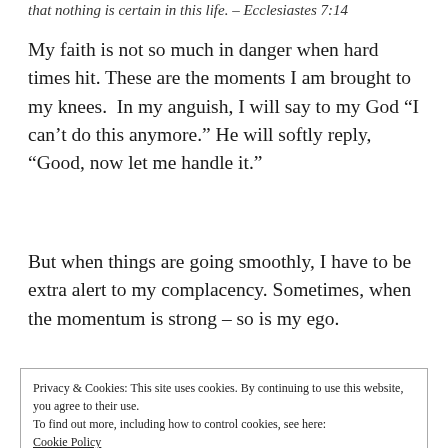that nothing is certain in this life. – Ecclesiastes 7:14
My faith is not so much in danger when hard times hit. These are the moments I am brought to my knees.  In my anguish, I will say to my God “I can’t do this anymore.” He will softly reply, “Good, now let me handle it.”
But when things are going smoothly, I have to be extra alert to my complacency. Sometimes, when the momentum is strong – so is my ego.
Privacy & Cookies: This site uses cookies. By continuing to use this website, you agree to their use.
To find out more, including how to control cookies, see here:
Cookie Policy
Close and accept
This is evident within my marriage. My